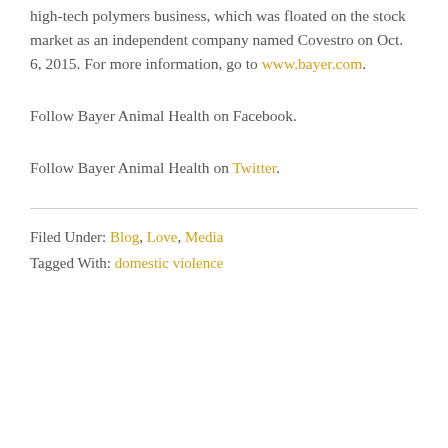high-tech polymers business, which was floated on the stock market as an independent company named Covestro on Oct. 6, 2015. For more information, go to www.bayer.com.
Follow Bayer Animal Health on Facebook.
Follow Bayer Animal Health on Twitter.
Filed Under: Blog, Love, Media
Tagged With: domestic violence